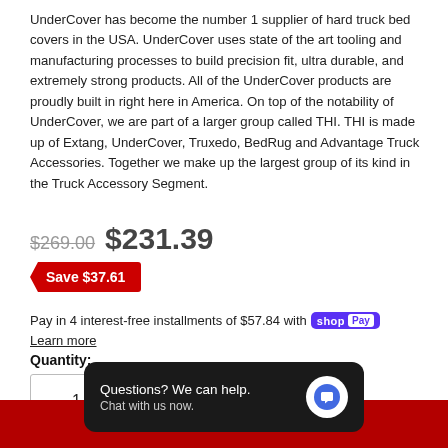UnderCover has become the number 1 supplier of hard truck bed covers in the USA. UnderCover uses state of the art tooling and manufacturing processes to build precision fit, ultra durable, and extremely strong products. All of the UnderCover products are proudly built in right here in America. On top of the notability of UnderCover, we are part of a larger group called THI. THI is made up of Extang, UnderCover, Truxedo, BedRug and Advantage Truck Accessories. Together we make up the largest group of its kind in the Truck Accessory Segment.
$269.00  $231.39
Save $37.61
Pay in 4 interest-free installments of $57.84 with Shop Pay  Learn more
Quantity:
1
Questions? We can help. Chat with us now.